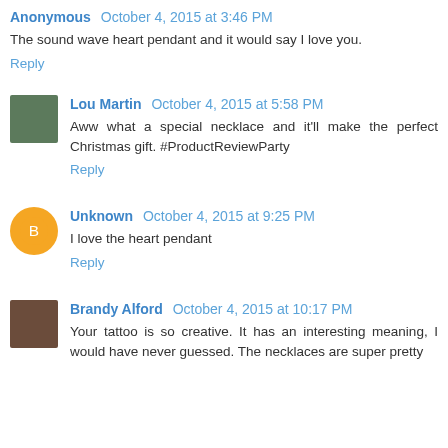Anonymous  October 4, 2015 at 3:46 PM
The sound wave heart pendant and it would say I love you.
Reply
Lou Martin  October 4, 2015 at 5:58 PM
Aww what a special necklace and it'll make the perfect Christmas gift. #ProductReviewParty
Reply
Unknown  October 4, 2015 at 9:25 PM
I love the heart pendant
Reply
Brandy Alford  October 4, 2015 at 10:17 PM
Your tattoo is so creative. It has an interesting meaning, I would have never guessed. The necklaces are super pretty